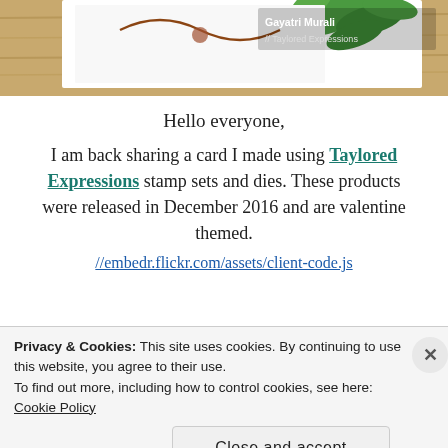[Figure (photo): Top portion of a craft card photo showing green leaves on a wooden surface, with overlay text 'Gayatri Murali // Taylored Expressions']
Hello everyone,
I am back sharing a card I made using Taylored Expressions stamp sets and dies. These products were released in December 2016 and are valentine themed.
//embedr.flickr.com/assets/client-code.js
[Figure (photo): Bottom portion of a valentine card photo on a wooden surface with a red flower on the right side and a red patterned card in the center]
Privacy & Cookies: This site uses cookies. By continuing to use this website, you agree to their use.
To find out more, including how to control cookies, see here: Cookie Policy
Close and accept